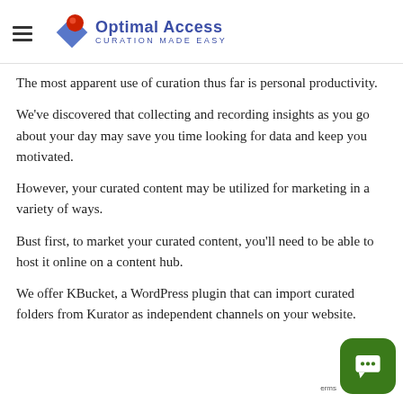Optimal Access — CURATION MADE EASY
The most apparent use of curation thus far is personal productivity.
We've discovered that collecting and recording insights as you go about your day may save you time looking for data and keep you motivated.
However, your curated content may be utilized for marketing in a variety of ways.
Bust first, to market your curated content, you'll need to be able to host it online on a content hub.
We offer KBucket, a WordPress plugin that can import curated folders from Kurator as independent channels on your website.